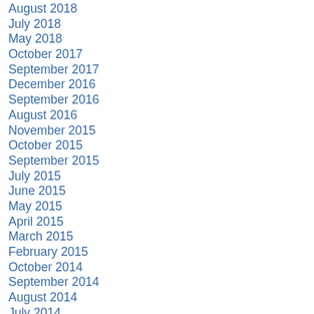August 2018
July 2018
May 2018
October 2017
September 2017
December 2016
September 2016
August 2016
November 2015
October 2015
September 2015
July 2015
June 2015
May 2015
April 2015
March 2015
February 2015
October 2014
September 2014
August 2014
July 2014